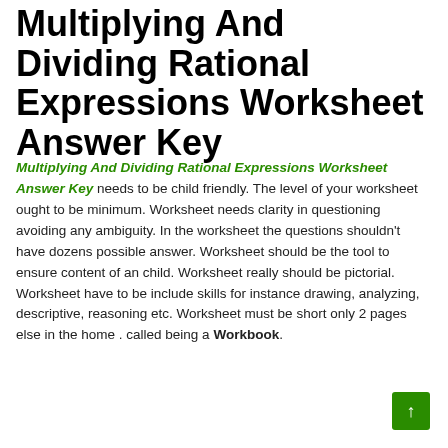Multiplying And Dividing Rational Expressions Worksheet Answer Key
Multiplying And Dividing Rational Expressions Worksheet Answer Key needs to be child friendly. The level of your worksheet ought to be minimum. Worksheet needs clarity in questioning avoiding any ambiguity. In the worksheet the questions shouldn't have dozens possible answer. Worksheet should be the tool to ensure content of an child. Worksheet really should be pictorial. Worksheet have to be include skills for instance drawing, analyzing, descriptive, reasoning etc. Worksheet must be short only 2 pages else in the home . called being a Workbook.